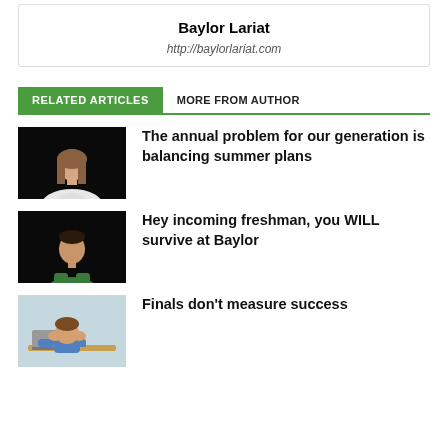Baylor Lariat
http://baylorlariat.com
RELATED ARTICLES   MORE FROM AUTHOR
[Figure (photo): Photo of a young woman with long hair wearing a white shirt against a dark background]
The annual problem for our generation is balancing summer plans
[Figure (photo): Photo of a young man sitting in a green shirt against a dark background]
Hey incoming freshman, you WILL survive at Baylor
[Figure (illustration): Illustration of a student with head in hands at a desk with books and laptop]
Finals don't measure success